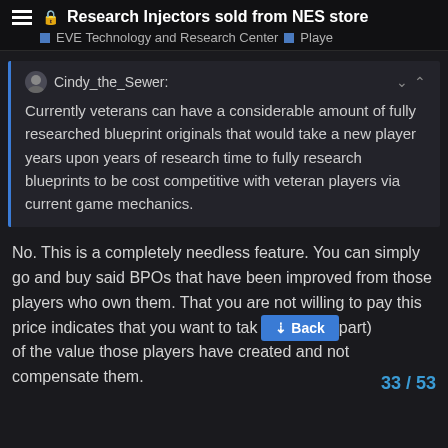Research Injectors sold from NES store — EVE Technology and Research Center — Playe
Cindy_the_Sewer: Currently veterans can have a considerable amount of fully researched blueprint originals that would take a new player years upon years of research time to fully research blueprints to be cost competitive with veteran players via current game mechanics.
No. This is a completely needless feature. You can simply go and buy said BPOs that have been improved from those players who own them. That you are not willing to pay this price indicates that you want to tak (part) of the value those players have created and not compensate them.
33 / 53